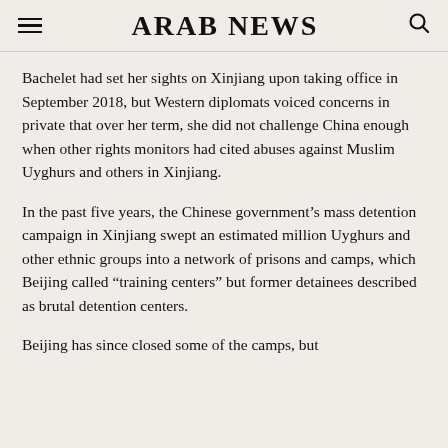ARAB NEWS
Bachelet had set her sights on Xinjiang upon taking office in September 2018, but Western diplomats voiced concerns in private that over her term, she did not challenge China enough when other rights monitors had cited abuses against Muslim Uyghurs and others in Xinjiang.
In the past five years, the Chinese government’s mass detention campaign in Xinjiang swept an estimated million Uyghurs and other ethnic groups into a network of prisons and camps, which Beijing called “training centers” but former detainees described as brutal detention centers.
Beijing has since closed some of the camps, but